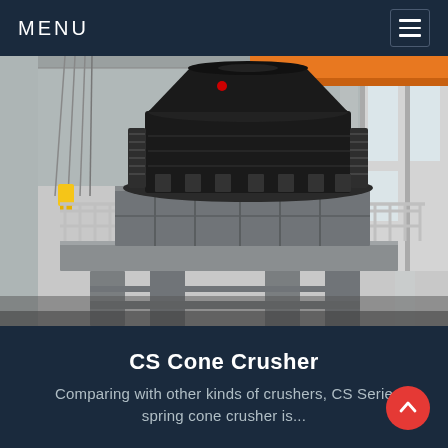MENU
[Figure (photo): Large industrial CS cone crusher machine mounted on a platform with metal railings inside a warehouse/factory building. The crusher is predominantly black with visible springs, mounted on a grey steel frame structure. An orange overhead crane is partially visible at the top right.]
CS Cone Crusher
Comparing with other kinds of crushers, CS Serie spring cone crusher is...